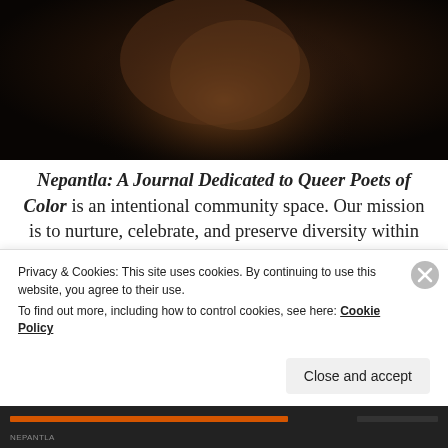[Figure (photo): Dark photograph showing a partial view of a human body, mostly in shadow with warm brown tones against a very dark background.]
Nepantla: A Journal Dedicated to Queer Poets of Color is an intentional community space. Our mission is to nurture, celebrate, and preserve diversity within the queer poetry community. Through this journal, we are attempting to center the lives and experiences of QPOC in contemporary America. Thus, we view the journal (and our reading series) as part of a whole artistic project and not
Privacy & Cookies: This site uses cookies. By continuing to use this website, you agree to their use.
To find out more, including how to control cookies, see here: Cookie Policy
Close and accept